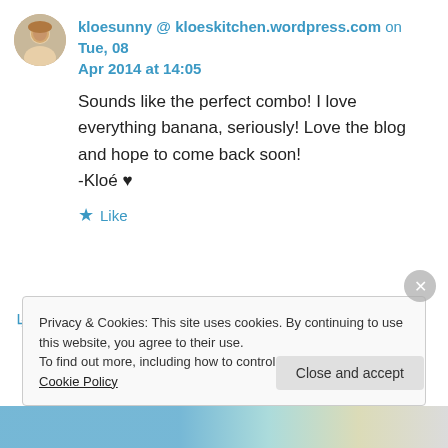kloesunny @ kloeskitchen.wordpress.com on Tue, 08 Apr 2014 at 14:05
Sounds like the perfect combo! I love everything banana, seriously! Love the blog and hope to come back soon!
-Kloé ♥
★ Like
↳ Reply
Privacy & Cookies: This site uses cookies. By continuing to use this website, you agree to their use.
To find out more, including how to control cookies, see here: Cookie Policy
Close and accept